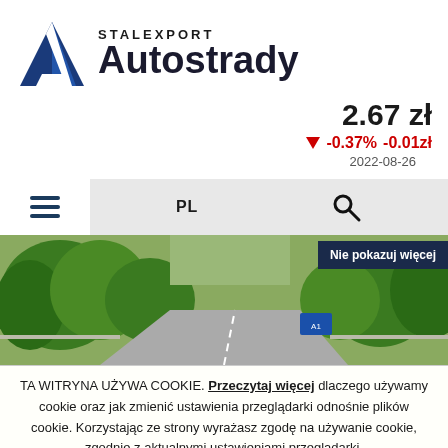[Figure (logo): Stalexport Autostrady logo with blue triangle/A symbol and company name]
2.67 zł
-0.37%  -0.01zł  2022-08-26
[Figure (screenshot): Navigation bar with hamburger menu, PL language selector, and search icon on grey background]
[Figure (photo): Highway road photo with green trees and a blue road sign visible]
Nie pokazuj więcej
TA WITRYNA UŻYWA COOKIE. Przeczytaj więcej dlaczego używamy cookie oraz jak zmienić ustawienia przeglądarki odnośnie plików cookie. Korzystając ze strony wyrażasz zgodę na używanie cookie, zgodnie z aktualnymi ustawieniami przeglądarki.